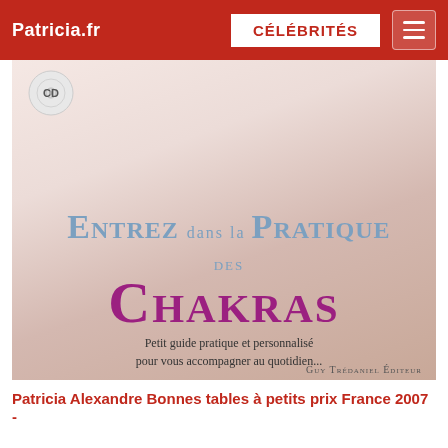Patricia.fr | CÉLÉBRITÉS
[Figure (photo): Book cover of 'Entrez dans la Pratique des Chakras - Petit guide pratique et personnalisé pour vous accompagner au quotidien...' by Guy Trédaniel Éditeur, featuring a woman's face with eyes closed and a CD badge in the top left corner.]
Patricia Alexandre Bonnes tables à petits prix France 2007 -